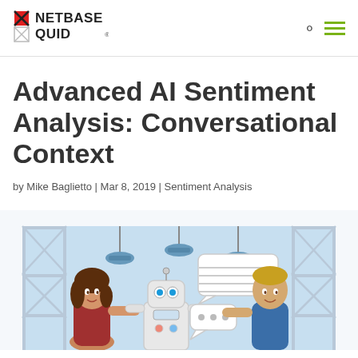NetBase Quid [logo]
Advanced AI Sentiment Analysis: Conversational Context
by Mike Baglietto | Mar 8, 2019 | Sentiment Analysis
[Figure (illustration): Cartoon illustration showing a woman and a man talking to a white robot, with speech bubbles, against a light blue industrial background with scaffolding structures.]